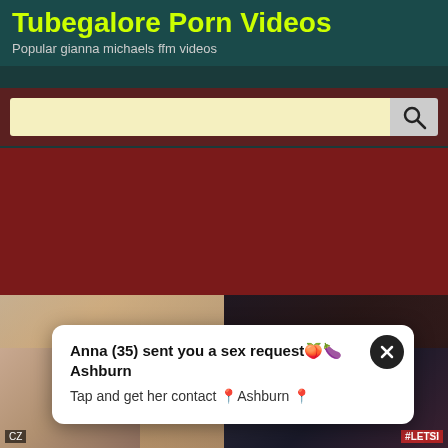Tubegalore Porn Videos
Popular gianna michaels ffm videos
[Figure (screenshot): Search bar with light yellow input field and magnifying glass icon on dark red background]
[Figure (photo): Dark red advertisement banner area]
[Figure (photo): Video thumbnail grid showing intimate scenes]
Anna (35) sent you a sex request🍑🍆 Ashburn
Tap and get her contact 📍Ashburn 📍